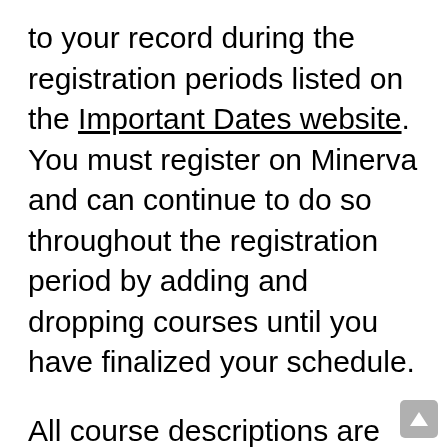to your record during the registration periods listed on the Important Dates website. You must register on Minerva and can continue to do so throughout the registration period by adding and dropping courses until you have finalized your schedule.
All course descriptions are available in Class Schedule and on the eCalendar. If you are a new student, you should refer to Course Information and Regulations to familiarize yourself with McGill's course numbering system